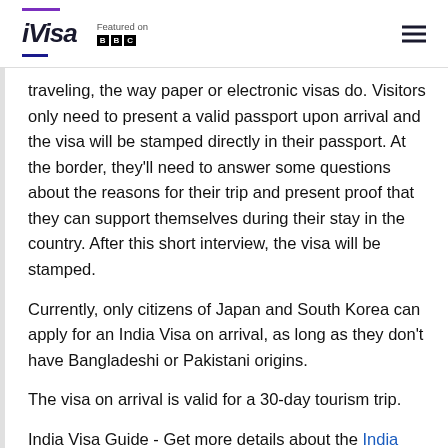iVisa | Featured on BBC
traveling, the way paper or electronic visas do. Visitors only need to present a valid passport upon arrival and the visa will be stamped directly in their passport. At the border, they'll need to answer some questions about the reasons for their trip and present proof that they can support themselves during their stay in the country. After this short interview, the visa will be stamped.
Currently, only citizens of Japan and South Korea can apply for an India Visa on arrival, as long as they don't have Bangladeshi or Pakistani origins.
The visa on arrival is valid for a 30-day tourism trip.
India Visa Guide - Get more details about the India